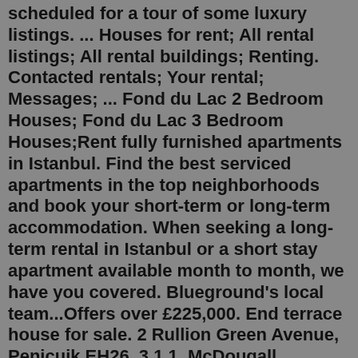scheduled for a tour of some luxury listings. ... Houses for rent; All rental listings; All rental buildings; Renting. Contacted rentals; Your rental; Messages; ... Fond du Lac 2 Bedroom Houses; Fond du Lac 3 Bedroom Houses;Rent fully furnished apartments in Istanbul. Find the best serviced apartments in the top neighborhoods and book your short-term or long-term accommodation. When seeking a long-term rental in Istanbul or a short stay apartment available month to month, we have you covered. Blueground's local team...Offers over £225,000. End terrace house for sale. 2 Rullion Green Avenue, Penicuik EH26. 3 1 1. McDougall McQueen present to the market this well-proportioned three bedroom end terraced villa arranged over two floors with private gardens to the front and rear along with an allocated ... read more. McDougall McQueen. 3 Bedroom Section 8 Housing Apartments for Rent in Peebles, OH Many things in life are expensive, but finding a good place to live shouldn't be one of them. Renting a subsidized or section 8 apartment is the best way to find affordable